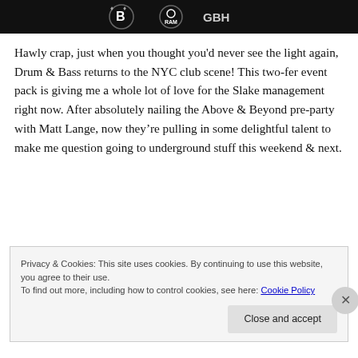[Figure (illustration): Dark banner image with logos: stylized letter B with wings, RAM records logo circle, and GBH text logo on black background]
Hawly crap, just when you thought you'd never see the light again, Drum & Bass returns to the NYC club scene! This two-fer event pack is giving me a whole lot of love for the Slake management right now. After absolutely nailing the Above & Beyond pre-party with Matt Lange, now they're pulling in some delightful talent to make me question going to underground stuff this weekend & next.
Privacy & Cookies: This site uses cookies. By continuing to use this website, you agree to their use.
To find out more, including how to control cookies, see here: Cookie Policy
Close and accept